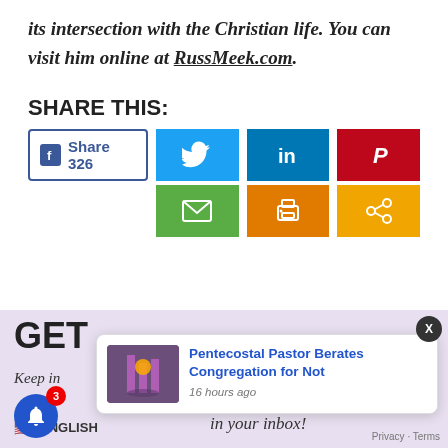its intersection with the Christian life. You can visit him online at RussMeek.com.
SHARE THIS:
[Figure (infographic): Social share buttons: Facebook Share 326, Twitter, LinkedIn, Pinterest, Email, Print, Share]
[Figure (screenshot): Website bottom section with GET and Keep in text, English flag, in your inbox! text, notification popup: Pentecostal Pastor Berates Congregation for Not, 16 hours ago, bell icon with badge 3, Privacy Terms link, X close button]